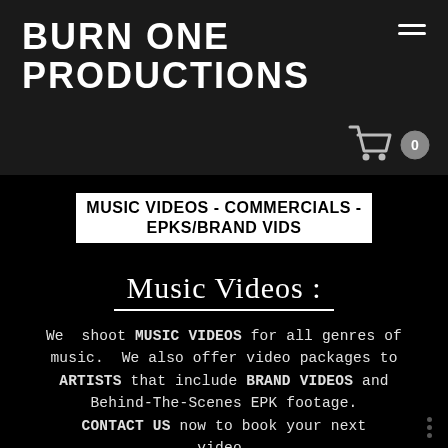BURN ONE PRODUCTIONS
[Figure (screenshot): Shopping cart icon with 0 badge]
MUSIC VIDEOS - COMMERCIALS - EPKS/BRAND VIDS
Music Videos :
We shoot MUSIC VIDEOS for all genres of music. We also offer video packages to ARTISTS that include BRAND VIDEOS and Behind-The-Scenes EPK footage. CONTACT US now to book your next video.